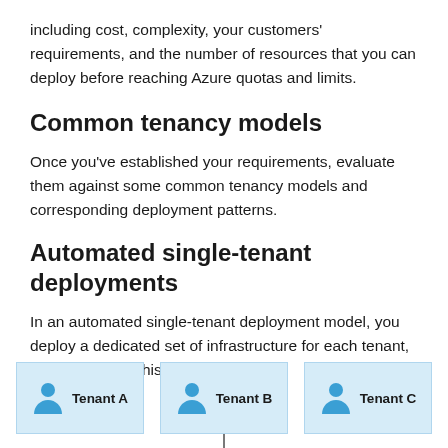including cost, complexity, your customers' requirements, and the number of resources that you can deploy before reaching Azure quotas and limits.
Common tenancy models
Once you've established your requirements, evaluate them against some common tenancy models and corresponding deployment patterns.
Automated single-tenant deployments
In an automated single-tenant deployment model, you deploy a dedicated set of infrastructure for each tenant, as illustrated in this example:
[Figure (infographic): Three tenant boxes labeled Tenant A, Tenant B, and Tenant C, each shown as a light blue box with a person icon, representing automated single-tenant deployments.]